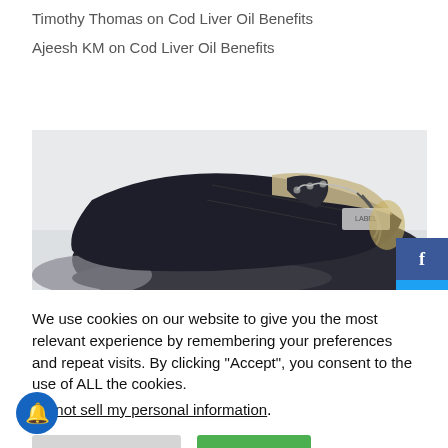Timothy Thomas on Cod Liver Oil Benefits
Ajeesh KM on Cod Liver Oil Benefits
[Figure (photo): Close-up photo of a dark navy/black sneaker shoe showing the upper fabric texture, stitching, laces, and eyelets against a light grey background.]
We use cookies on our website to give you the most relevant experience by remembering your preferences and repeat visits. By clicking “Accept”, you consent to the use of ALL the cookies.
Do not sell my personal information.